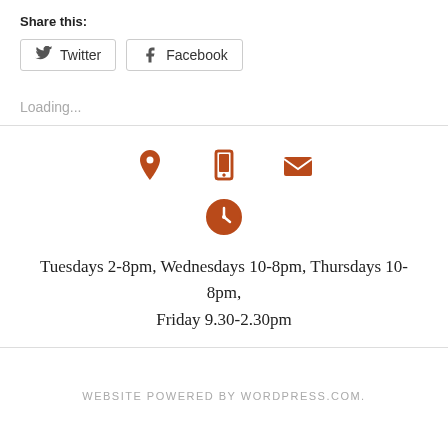Share this:
Twitter  Facebook
Loading...
[Figure (infographic): Three orange icons in a row: location pin, mobile phone, envelope. Below them a single orange clock icon.]
Tuesdays 2-8pm, Wednesdays 10-8pm, Thursdays 10-8pm, Friday 9.30-2.30pm
WEBSITE POWERED BY WORDPRESS.COM.